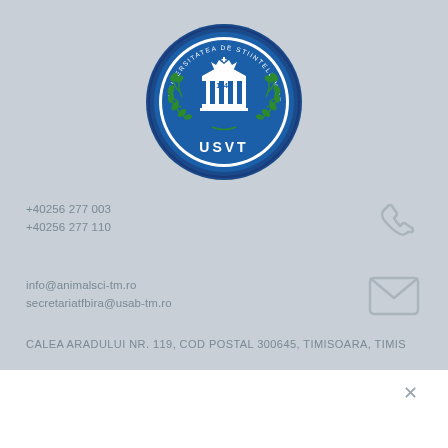[Figure (logo): USVT university circular logo with blue border, green laurel wreaths, blue column building, crown, and text 'UNIVERSITATEA DE STIINTELE VIETII REGELE MIHAI I DIN TIMISOARA' and '1945' in center]
+40256 277 003
+40256 277 110
[Figure (illustration): Phone handset icon in light gray outline style]
info@animalsci-tm.ro
secretariatfbira@usab-tm.ro
[Figure (illustration): Envelope/mail icon in light gray outline style]
CALEA ARADULUI NR. 119, COD POSTAL 300645, TIMISOARA, TIMIS